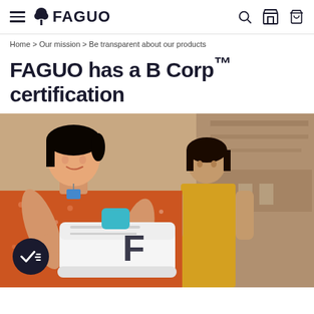FAGUO (navigation bar with hamburger menu, logo, search, store, and bag icons)
Home > Our mission > Be transparent about our products
FAGUO has a B Corp™ certification
[Figure (photo): Two factory workers in a manufacturing facility inspecting a white FAGUO sneaker. The worker in the foreground is wearing an orange floral dress and holding the white shoe with a large black F logo. A B Corp certification badge (dark circle with checkmark/B) is visible in the bottom-left corner of the image.]